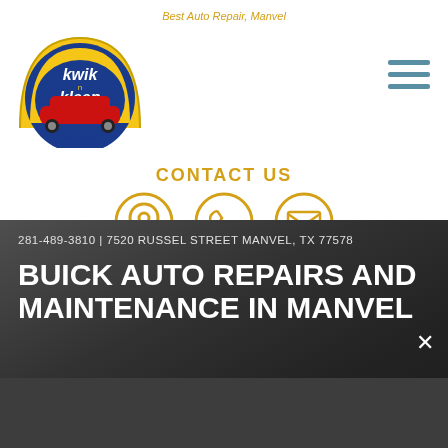Best Auto Repair, Manvel
[Figure (logo): Kwik-N-Kleen logo with red classic car on blue/yellow shield background, EST. 1997]
CONTACT US
[Figure (infographic): Three circular icons: location pin, phone, envelope — in gold/amber color]
281-489-3810 | 7520 RUSSEL STREET MANVEL, TX 77578
BUICK AUTO REPAIRS AND MAINTENANCE IN MANVEL
TAP TO CALL NOW
281-489-3810
KWIK-N-KLEEN AUTO REPAIR SERVICE > DOMESTIC CARS & TRUCKS > BUICK